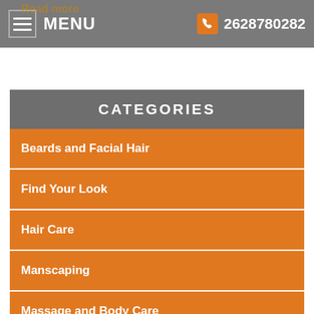MENU  2628780282
CATEGORIES
Beards and Facial Hair
Find Your Look
Hair Care
Manscaping
Massage and Body Care
Skin Care
Skin Fixes
Style and Service Options